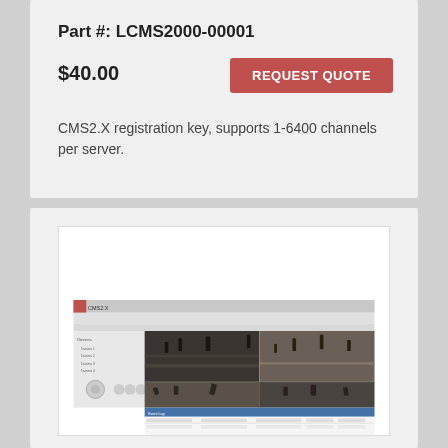Part #: LCMS2000-00001
$40.00
REQUEST QUOTE
CMS2.X registration key, supports 1-6400 channels per server.
[Figure (screenshot): CMS2.X software screenshot showing a security camera management interface with multiple camera feeds and a log/event panel at the bottom.]